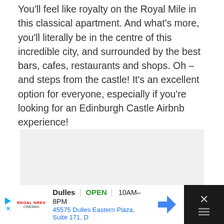You'll feel like royalty on the Royal Mile in this classical apartment. And what's more, you'll literally be in the centre of this incredible city, and surrounded by the best bars, cafes, restaurants and shops. Oh – and steps from the castle! It's an excellent option for everyone, especially if you're looking for an Edinburgh Castle Airbnb experience!
[Figure (other): Gray placeholder box for an image or advertisement content]
Dulles OPEN | 10AM–8PM 45575 Dulles Eastern Plaza, Suite 171, D